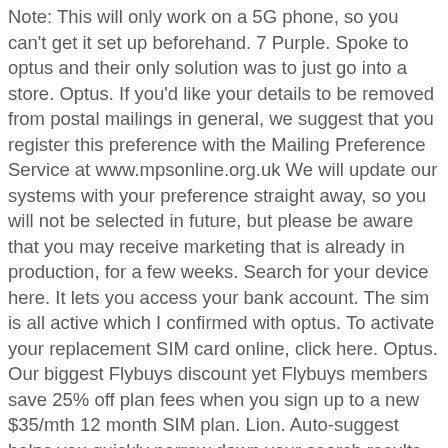Note: This will only work on a 5G phone, so you can't get it set up beforehand. 7 Purple. Spoke to optus and their only solution was to just go into a store. Optus. If you'd like your details to be removed from postal mailings in general, we suggest that you register this preference with the Mailing Preference Service at www.mpsonline.org.uk We will update our systems with your preference straight away, so you will not be selected in future, but please be aware that you may receive marketing that is already in production, for a few weeks. Search for your device here. It lets you access your bank account. The sim is all active which I confirmed with optus. To activate your replacement SIM card online, click here. Optus. Our biggest Flybuys discount yet Flybuys members save 25% off plan fees when you sign up to a new $35/mth 12 month SIM plan. Lion. Auto-suggest helps you quickly narrow down your search results by suggesting possible matches as you type. You will be lead through a number of steps in order to unlock your mobile device. Keep an eye out for things like bonus data, data free Optus Sport streaming and more, although